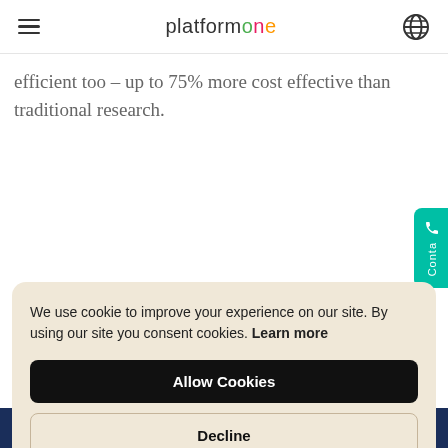platformone
efficient too – up to 75% more cost effective than traditional research.
We use cookie to improve your experience on our site. By using our site you consent cookies. Learn more
Allow Cookies
Decline
direct dialogue